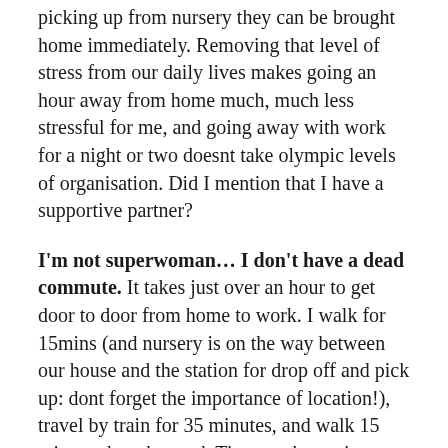picking up from nursery they can be brought home immediately. Removing that level of stress from our daily lives makes going an hour away from home much, much less stressful for me, and going away with work for a night or two doesnt take olympic levels of organisation. Did I mention that I have a supportive partner?
I'm not superwoman... I don't have a dead commute. It takes just over an hour to get door to door from home to work. I walk for 15mins (and nursery is on the way between our house and the station for drop off and pick up: dont forget the importance of location!), travel by train for 35 minutes, and walk 15 mins at the other end. Time on the station platform is generally spent on twitter: the time spent on the train I get on with some work. I get a tonne of stuff done on the train